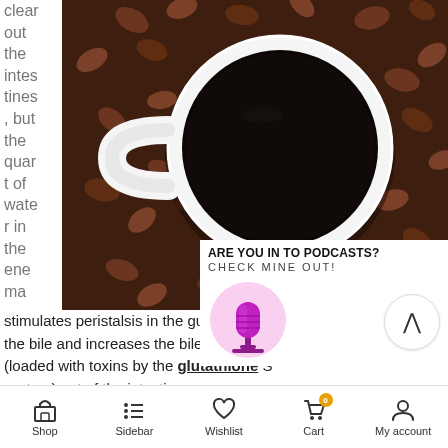clear out the intestines, but the quart of water in the enema
[Figure (photo): Overhead view of a white coffee cup filled with black coffee, surrounded by coffee beans on a dark surface]
ARE YOU IN TO PODCASTS? CHECK MINE OUT!
[Figure (illustration): Pink microphone icon illustration and a chevron up button]
stimulates peristalsis in the gut. A portion the bile and increases the bile flow, ther (loaded with toxins by the glutathione S system) out of the intestines
Shop  Sidebar  Wishlist  Cart  My account